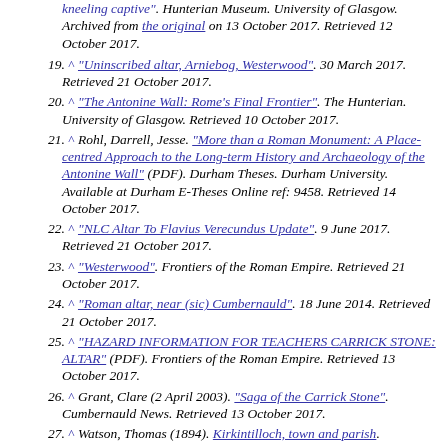(continuation) kneeling captive". Hunterian Museum. University of Glasgow. Archived from the original on 13 October 2017. Retrieved 12 October 2017.
19. ^ "Uninscribed altar, Arniebog, Westerwood". 30 March 2017. Retrieved 21 October 2017.
20. ^ "The Antonine Wall: Rome's Final Frontier". The Hunterian. University of Glasgow. Retrieved 10 October 2017.
21. ^ Rohl, Darrell, Jesse. "More than a Roman Monument: A Place-centred Approach to the Long-term History and Archaeology of the Antonine Wall" (PDF). Durham Theses. Durham University. Available at Durham E-Theses Online ref: 9458. Retrieved 14 October 2017.
22. ^ "NLC Altar To Flavius Verecundus Update". 9 June 2017. Retrieved 21 October 2017.
23. ^ "Westerwood". Frontiers of the Roman Empire. Retrieved 21 October 2017.
24. ^ "Roman altar, near (sic) Cumbernauld". 18 June 2014. Retrieved 21 October 2017.
25. ^ "HAZARD INFORMATION FOR TEACHERS CARRICK STONE: ALTAR" (PDF). Frontiers of the Roman Empire. Retrieved 13 October 2017.
26. ^ Grant, Clare (2 April 2003). "Saga of the Carrick Stone". Cumbernauld News. Retrieved 13 October 2017.
27. ^ Watson, Thomas (1894). Kirkintilloch, town and parish.